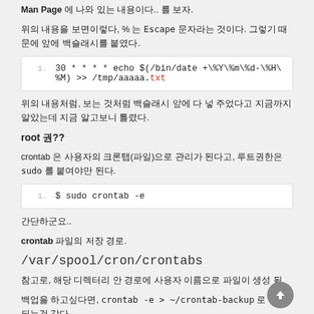Man Page 에 나와 있는 내용이다.. 를 보자.
위의 내용을 보면이렇다, % 는 Escape 문자라는 것이다. 그렇기 때문에 앞에 백슬래시를 붙였다.
1.  30 * * * * echo $(/bin/date +\%Y\%m\%d-\%H\%M) >> /tmp/aaaaa.txt
위의 내용처럼, 보는 것처럼 백슬래시 앞에 다 넣 주었다고 지금까지 알았는데 지금 알고보니 틀렸다.
root 권??
crontab 은 사용자의 크론탭(파일)으로 관리가 된다고, 루트권한은 sudo 를 붙여야만 된다.
1.  $ sudo crontab -e
간단하군요..
crontab 파일의 저장 경로.
/var/spool/cron/crontabs
참고로, 해당 디렉터리 안 경로에 사용자 이름으로 파일이 생성 됨.
백업을 하고싶다면, crontab -e > ~/crontab-backup 로 하면 되는것 같다.